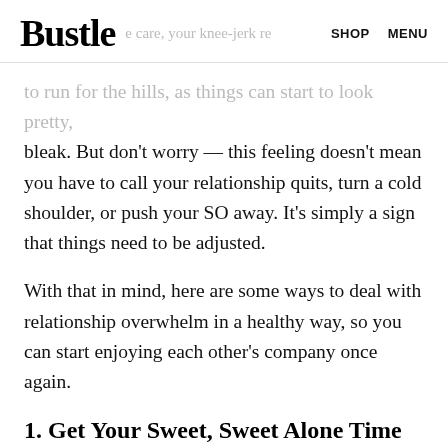Bustle  e care, your knee-jerk re  SHOP  MENU
to run for the hills, as things can start to look pretty, bleak. But don't worry — this feeling doesn't mean you have to call your relationship quits, turn a cold shoulder, or push your SO away. It's simply a sign that things need to be adjusted.
With that in mind, here are some ways to deal with relationship overwhelm in a healthy way, so you can start enjoying each other's company once again.
1. Get Your Sweet, Sweet Alone Time